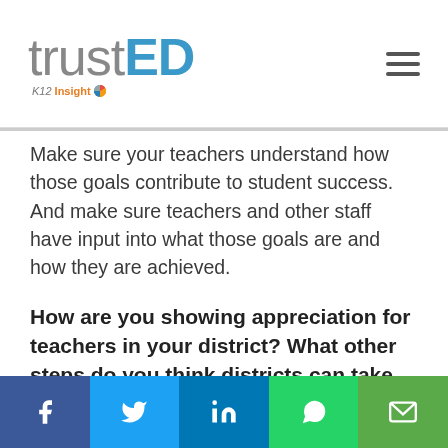trustED K12 Insight
Make sure your teachers understand how those goals contribute to student success. And make sure teachers and other staff have input into what those goals are and how they are achieved.
How are you showing appreciation for teachers in your district? What other steps do you think districts can take to boost teacher morale? Tell us in the comments.
TOPICS:   Faculty Engagement   Leadership
Staff Engagement   Teacher Engagement
Teac...